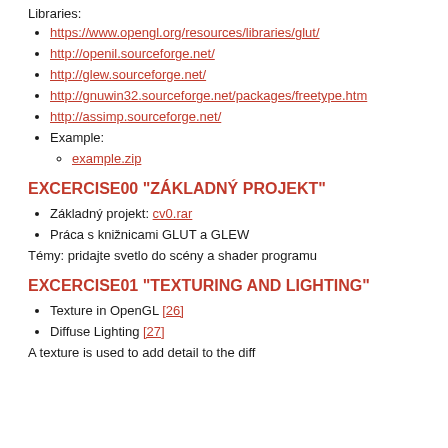Libraries:
https://www.opengl.org/resources/libraries/glut/
http://openil.sourceforge.net/
http://glew.sourceforge.net/
http://gnuwin32.sourceforge.net/packages/freetype.htm
http://assimp.sourceforge.net/
Example:
example.zip
EXCERCISE00 "ZÁKLADNÝ PROJEKT"
Základný projekt: cv0.rar
Práca s knižnicami GLUT a GLEW
Témy: pridajte svetlo do scény a shader programu
EXCERCISE01 "TEXTURING AND LIGHTING"
Texture in OpenGL [26]
Diffuse Lighting [27]
A texture is used to add detail to the diff...